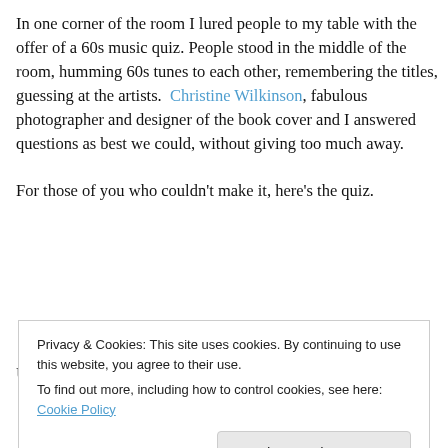In one corner of the room I lured people to my table with the offer of a 60s music quiz. People stood in the middle of the room, humming 60s tunes to each other, remembering the titles, guessing at the artists.  Christine Wilkinson, fabulous photographer and designer of the book cover and I answered questions as best we could, without giving too much away.
For those of you who couldn't make it, here's the quiz.
Unfortunately no fabulous prizes remain (gorgeous fridge...
Privacy & Cookies: This site uses cookies. By continuing to use this website, you agree to their use.
To find out more, including how to control cookies, see here: Cookie Policy